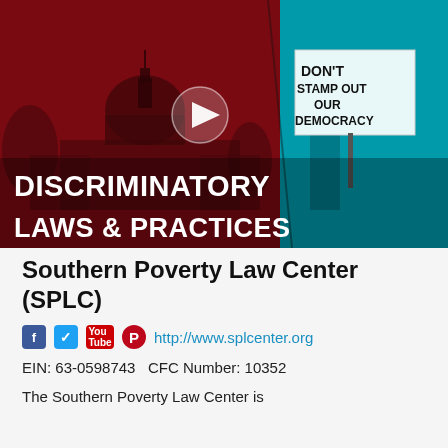[Figure (screenshot): Video thumbnail showing the US Capitol building on a dark red background on the left, and a protest image on a teal/cyan background on the right. Text overlay reads 'DISCRIMINATORY LAWS & PRACTICES' in bold white. A white play button triangle is centered. The right side shows a protester holding a sign reading 'DON'T STAMP OUT OUR DEMOCRACY'.]
Southern Poverty Law Center (SPLC)
http://www.splcenter.org
EIN:  63-0598743   CFC Number:  10352
The Southern Poverty Law Center is